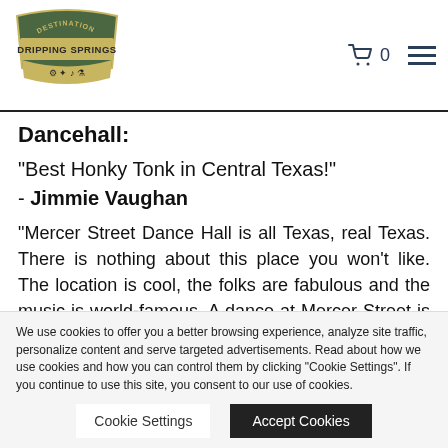Destination Dripping Springs logo, cart icon with 0, hamburger menu
Dancehall:
“Best Honky Tonk in Central Texas!”
- Jimmie Vaughan
"Mercer Street Dance Hall is all Texas, real Texas. There is nothing about this place you won't like. The location is cool, the folks are fabulous and the music is world-famous. A dance at Mercer Street is what Texas is all
We use cookies to offer you a better browsing experience, analyze site traffic, personalize content and serve targeted advertisements. Read about how we use cookies and how you can control them by clicking "Cookie Settings". If you continue to use this site, you consent to our use of cookies.
Cookie Settings | Accept Cookies